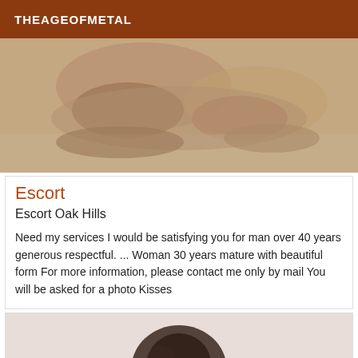THEAGEOFMETAL
[Figure (photo): Sepia-toned photograph of a person kneeling on sandy ground, viewed from behind, cropped to show legs and torso]
Escort
Escort Oak Hills
Need my services I would be satisfying you for man over 40 years generous respectful. ... Woman 30 years mature with beautiful form For more information, please contact me only by mail You will be asked for a photo Kisses
[Figure (photo): Partial photo showing a dark silhouette of a figure against a light background, cropped at bottom of page]